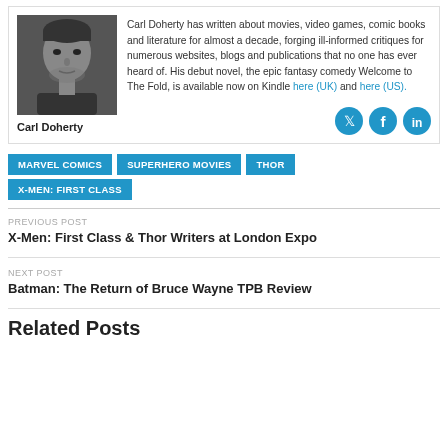[Figure (photo): Black and white photo of Carl Doherty]
Carl Doherty has written about movies, video games, comic books and literature for almost a decade, forging ill-informed critiques for numerous websites, blogs and publications that no one has ever heard of. His debut novel, the epic fantasy comedy Welcome to The Fold, is available now on Kindle here (UK) and here (US).
Carl Doherty
[Figure (other): Social media icons: Twitter, Facebook, LinkedIn]
MARVEL COMICS
SUPERHERO MOVIES
THOR
X-MEN: FIRST CLASS
PREVIOUS POST
X-Men: First Class & Thor Writers at London Expo
NEXT POST
Batman: The Return of Bruce Wayne TPB Review
Related Posts